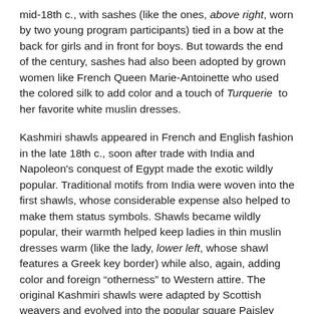mid-18th c., with sashes (like the ones, above right, worn by two young program participants) tied in a bow at the back for girls and in front for boys. But towards the end of the century, sashes had also been adopted by grown women like French Queen Marie-Antoinette who used the colored silk to add color and a touch of Turquerie to her favorite white muslin dresses.
Kashmiri shawls appeared in French and English fashion in the late 18th c., soon after trade with India and Napoleon's conquest of Egypt made the exotic wildly popular. Traditional motifs from India were woven into the first shawls, whose considerable expense also helped to make them status symbols. Shawls became wildly popular, their warmth helped keep ladies in thin muslin dresses warm (like the lady, lower left, whose shawl features a Greek key border) while also, again, adding color and foreign "otherness" to Western attire. The original Kashmiri shawls were adapted by Scottish weavers and evolved into the popular square Paisley shawls favored by Victorian ladies, while ladies from 1830-1890 desired China crepe shawls from Nankeen and Canton with deep fringed borders, elaborate embroidery, and floral